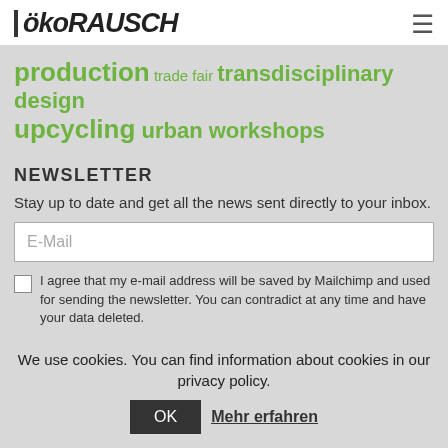[Figure (logo): ökoRAUSCH logo — stylized text with vertical bar on left]
production trade fair transdisciplinary design upcycling urban workshops
NEWSLETTER
Stay up to date and get all the news sent directly to your inbox.
E-Mail
I agree that my e-mail address will be saved by Mailchimp and used for sending the newsletter. You can contradict at any time and have your data deleted.
We use cookies. You can find information about cookies in our privacy policy.
OK
Mehr erfahren